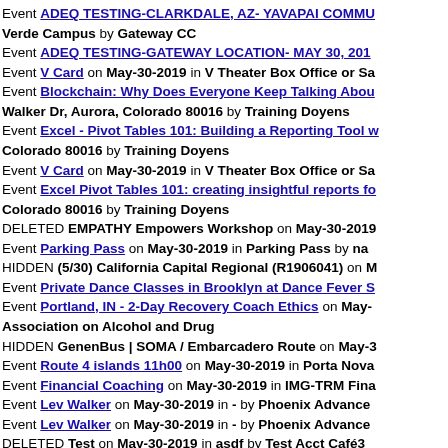Event ADEQ TESTING-CLARKDALE, AZ- YAVAPAI COMMU Verde Campus by Gateway CC
Event ADEQ TESTING-GATEWAY LOCATION- MAY 30, 201
Event V Card on May-30-2019 in V Theater Box Office or Sa
Event Blockchain: Why Does Everyone Keep Talking Abou Walker Dr, Aurora, Colorado 80016 by Training Doyens
Event Excel - Pivot Tables 101: Building a Reporting Tool v Colorado 80016 by Training Doyens
Event V Card on May-30-2019 in V Theater Box Office or Sa
Event Excel Pivot Tables 101: creating insightful reports fo Colorado 80016 by Training Doyens
DELETED EMPATHY Empowers Workshop on May-30-2019
Event Parking Pass on May-30-2019 in Parking Pass by na
HIDDEN (5/30) California Capital Regional (R1906041) on M
Event Private Dance Classes in Brooklyn at Dance Fever S
Event Portland, IN - 2-Day Recovery Coach Ethics on May- Association on Alcohol and Drug
HIDDEN GenenBus | SOMA / Embarcadero Route on May-3
Event Route 4 islands 11h00 on May-30-2019 in Porta Nova
Event Financial Coaching on May-30-2019 in IMG-TRM Fina
Event Lev Walker on May-30-2019 in - by Phoenix Advance
Event Lev Walker on May-30-2019 in - by Phoenix Advance
DELETED Test on May-30-2019 in asdf by Test Acct Café3
DELETED Test on May-30-2019 in asdf by Test Acct Café3
DELETED VCARD - The Vegas Nightlife Pass on May-30-20